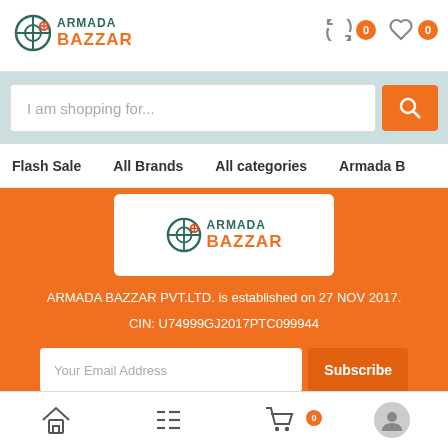ARMADA BAZZAR - Header with logo, cart and wishlist icons
I am shopping for...
Flash Sale   All Brands   All categories   Armada B
[Figure (logo): Armada Bazzar logo on white card over orange background]
ARMADA BAZZAR PVT.LTD. is established on 27 NOV 2017.
CIN: U74999GJ2017PTC099944
Your Email Address  Subscribe
DOWNLOAD APP
GET IT ON
Home  Menu  Cart (0)  Profile